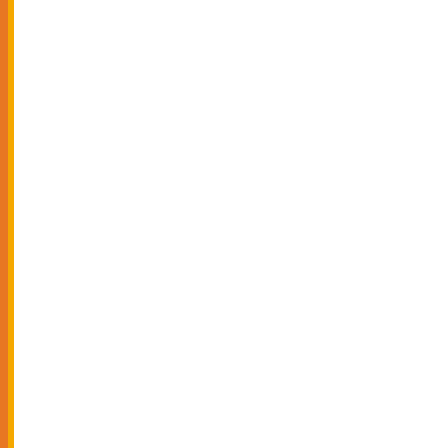| No. | Date | Programme |
| --- | --- | --- |
| 114. |  | Management |
| 115. | 18/01/2022 | BE Chemical Communication |
| 116. | 18/01/2022 | MSc Industri |
| 117. | 18/01/2022 | ME Food Technology Management |
| 118. | 18/01/2022 | BE Chemical Enterpreneu |
| 119. | 18/01/2022 | BE Chemica |
| 120. | 18/01/2022 | MSc. Industr |
| 121. | 18/01/2022 | BE Chemica |
| 122. | 18/01/2022 | ME Chemical Engineering |
| 123. | 18/01/2022 | BE Chemica |
| 124. | 18/01/2022 | BE Chemica |
| 125. | 18/01/2022 | BE Chemica |
| 126. | 18/01/2022 | BE Food Technology Fats |
| 127. | 18/01/2022 | BE Chemica (Organic) |